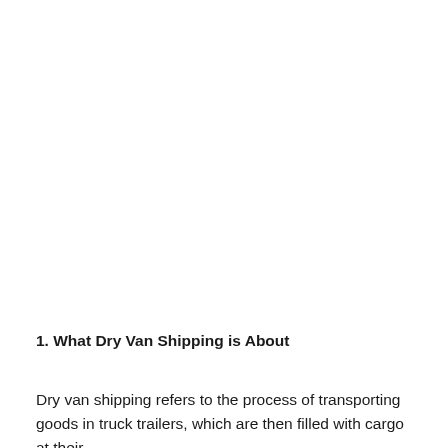1. What Dry Van Shipping is About
Dry van shipping refers to the process of transporting goods in truck trailers, which are then filled with cargo at their